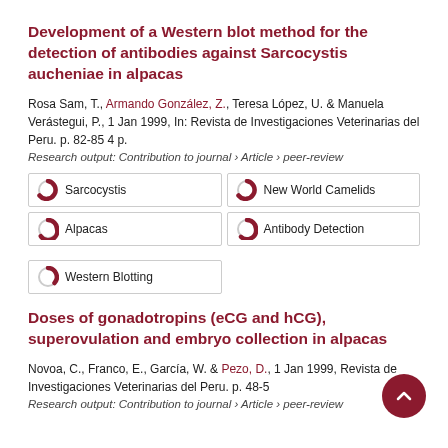Development of a Western blot method for the detection of antibodies against Sarcocystis aucheniae in alpacas
Rosa Sam, T., Armando González, Z., Teresa López, U. & Manuela Verástegui, P., 1 Jan 1999, In: Revista de Investigaciones Veterinarias del Peru. p. 82-85 4 p.
Research output: Contribution to journal › Article › peer-review
Sarcocystis
New World Camelids
Alpacas
Antibody Detection
Western Blotting
Doses of gonadotropins (eCG and hCG), superovulation and embryo collection in alpacas
Novoa, C., Franco, E., García, W. & Pezo, D., 1 Jan 1999, Revista de Investigaciones Veterinarias del Peru. p. 48-5
Research output: Contribution to journal › Article › peer-review